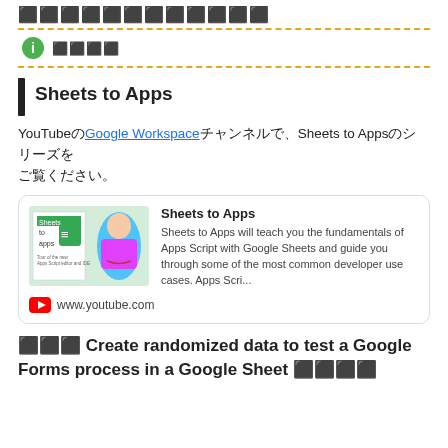⬛⬛⬛⬛⬛⬛⬛⬛⬛⬛⬛⬛
⬛⬛⬛⬛
Sheets to Apps
YouTubeのGoogle Workspaceチャンネルで、Sheets to Appsのシリーズをご覧ください。
[Figure (screenshot): Video card preview for 'Sheets to Apps' YouTube video showing thumbnail with Google Sheets logo and a presenter, with description: 'Sheets to Apps will teach you the fundamentals of Apps Script with Google Sheets and guide you through some of the most common developer use cases. Apps Scri...' and URL: www.youtube.com]
⬛⬛⬛ Create randomized data to test a Google Forms process in a Google Sheet ⬛⬛⬛⬛